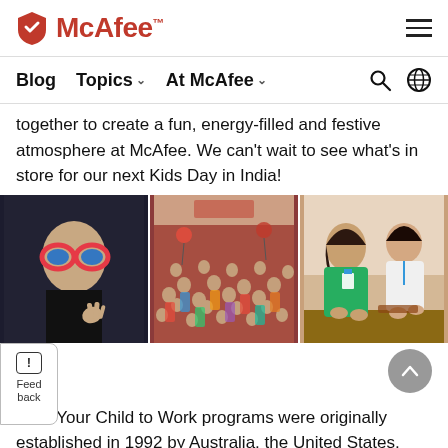McAfee™ logo with navigation hamburger menu
Blog  Topics  At McAfee  [search] [globe]
together to create a fun, energy-filled and festive atmosphere at McAfee. We can't wait to see what's in store for our next Kids Day in India!
[Figure (photo): Three photos side by side: left photo shows a child wearing colorful novelty glasses; middle photo shows a large crowd of children at an event; right photo shows two girls doing a hands-on activity.]
Take Your Child to Work programs were originally established in 1992 by Australia, the United States, and